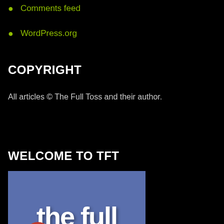Comments feed
WordPress.org
COPYRIGHT
All articles © The Full Toss and their author.
WELCOME TO TFT
[Figure (illustration): The Full Toss website banner with blue/purple background showing 'the full' text in large white bold letters with a cricket ball partially visible at the bottom]